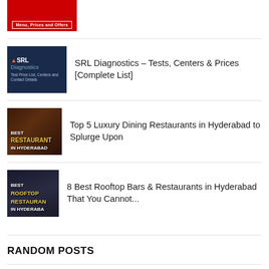[Figure (photo): McDonald's red thumbnail with 'Menu, Prices and Offers' text (partially visible at top)]
[Figure (photo): SRL Diagnostics dark blue thumbnail with logo and 'Test Price List, Centers and Contact Details']
SRL Diagnostics – Tests, Centers & Prices [Complete List]
[Figure (photo): Best Restaurants in Hyderabad dark thumbnail with text overlay]
Top 5 Luxury Dining Restaurants in Hyderabad to Splurge Upon
[Figure (photo): Best Rooftop Restaurants in Hyderabad dark night scene thumbnail]
8 Best Rooftop Bars & Restaurants in Hyderabad That You Cannot...
RANDOM POSTS
[Figure (photo): Hotel and Catering thumbnail (partially visible)]
Hotel and Catering – Snapdeals Next Big